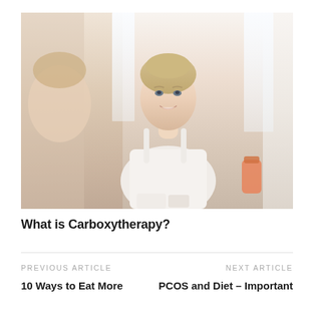[Figure (photo): Young blonde woman in white tank top smiling at her reflection in a bathroom mirror, holding a skincare product. Bright, light, airy bathroom setting.]
What is Carboxytherapy?
PREVIOUS ARTICLE
10 Ways to Eat More
NEXT ARTICLE
PCOS and Diet – Important